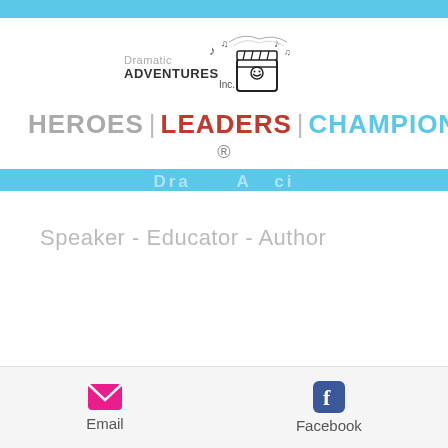[Figure (logo): Dramatic Adventures Inc. logo with illustrated movie clapper and musical notes]
HEROES | LEADERS | CHAMPIONS ®
Speaker - Educator - Author
Email  Facebook